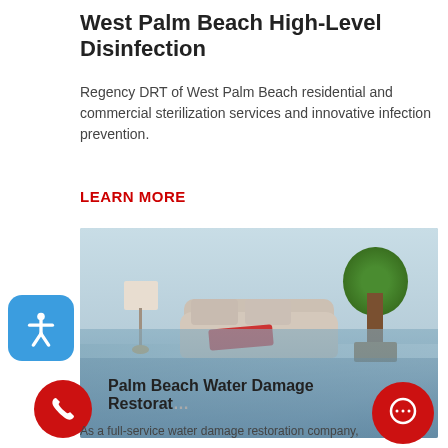West Palm Beach High-Level Disinfection
Regency DRT of West Palm Beach residential and commercial sterilization services and innovative infection prevention.
LEARN MORE
[Figure (photo): A flooded room interior showing a sofa with red fabric, a floor lamp, and a potted tree, all partially submerged in water.]
Palm Beach Water Damage Restoration
As a full-service water damage restoration company,